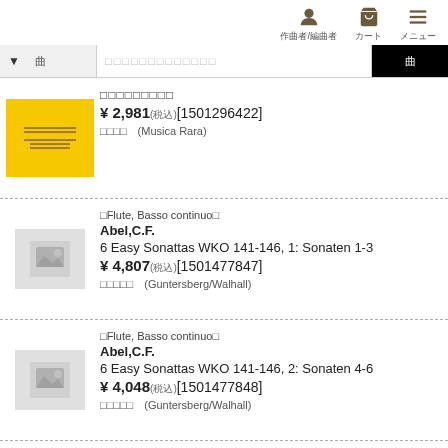作曲者/編曲者　カート　メニュー
▼　曲　　□□□□□□□□□□□□□　曲
□□□□□□□□□
¥ 2,981(税込)[1501296422]
□□□□　(Musica Rara)
□Flute, Basso continuo□
Abel,C.F.
6 Easy Sonattas WKO 141-146, 1: Sonaten 1-3
¥ 4,807(税込)[1501477847]
□□□□□　(Guntersberg/Walhall)
□Flute, Basso continuo□
Abel,C.F.
6 Easy Sonattas WKO 141-146, 2: Sonaten 4-6
¥ 4,048(税込)[1501477848]
□□□□□　(Guntersberg/Walhall)
□Flute, Basso continuo□
Abel,C.F.
Sonata in D, fur Flauto traverso und Basso, WKO deest. First Edition
□□□□□□□□　□□□